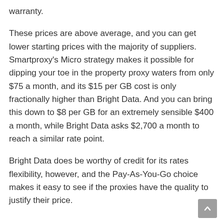warranty.
These prices are above average, and you can get lower starting prices with the majority of suppliers. Smartproxy’s Micro strategy makes it possible for dipping your toe in the property proxy waters from only $75 a month, and its $15 per GB cost is only fractionally higher than Bright Data. And you can bring this down to $8 per GB for an extremely sensible $400 a month, while Bright Data asks $2,700 a month to reach a similar rate point.
Bright Data does be worthy of credit for its rates flexibility, however, and the Pay-As-You-Go choice makes it easy to see if the proxies have the quality to justify their price.